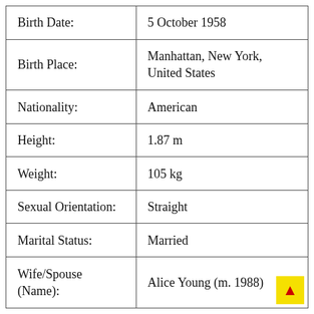| Field | Value |
| --- | --- |
| Birth Date: | 5 October 1958 |
| Birth Place: | Manhattan, New York, United States |
| Nationality: | American |
| Height: | 1.87 m |
| Weight: | 105 kg |
| Sexual Orientation: | Straight |
| Marital Status: | Married |
| Wife/Spouse (Name): | Alice Young (m. 1988) |